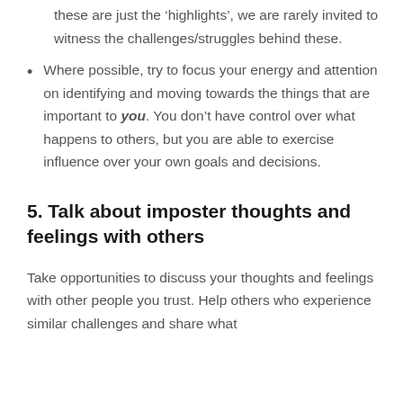these are just the 'highlights', we are rarely invited to witness the challenges/struggles behind these.
Where possible, try to focus your energy and attention on identifying and moving towards the things that are important to you. You don't have control over what happens to others, but you are able to exercise influence over your own goals and decisions.
5. Talk about imposter thoughts and feelings with others
Take opportunities to discuss your thoughts and feelings with other people you trust. Help others who experience similar challenges and share what